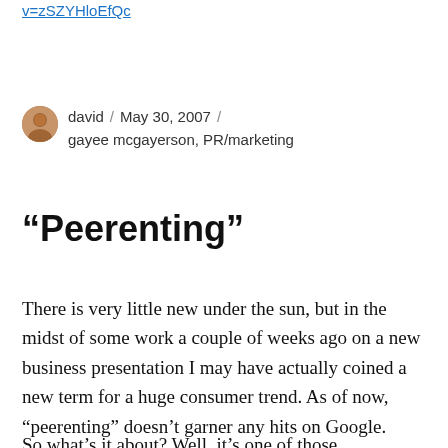v=zSZYHloEfQc
david / May 30, 2007 / gayee mcgayerson, PR/marketing
“Peerenting”
There is very little new under the sun, but in the midst of some work a couple of weeks ago on a new business presentation I may have actually coined a new term for a huge consumer trend. As of now, “peerenting” doesn’t garner any hits on Google.
So what’s it about? Well, it’s one of those